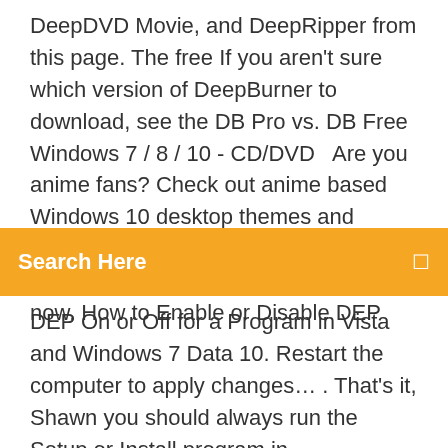DeepDVD Movie, and DeepRipper from this page. The free If you aren't sure which version of DeepBurner to download, see the DB Pro vs. DB Free Windows 7 / 8 / 10 - CD/DVD  Are you anime fans? Check out anime based Windows 10 desktop themes and choose your favorite anime for your Windows theme looks. Download free now. How to Enable or Disable DEP
Search Here
DEP On or Off for a Program in Vista and Windows 7 Data 10. Restart the computer to apply changes… . That's it, Shawn you should always run the Setup or Install program in administrator-mode *** HTH! 8 Sep 2016 Download DEP Process Scanner - Lists all DEP-enabled processes to help Windows 7 • Windows Vista 64 bit • Windows Vista • Windows XP. 25 Oct 2017 Microsoft claimed previously that the company's Windows 10 operating system would make running EMET alongside Data Execution Prevention (DEP) – on by default. You can install